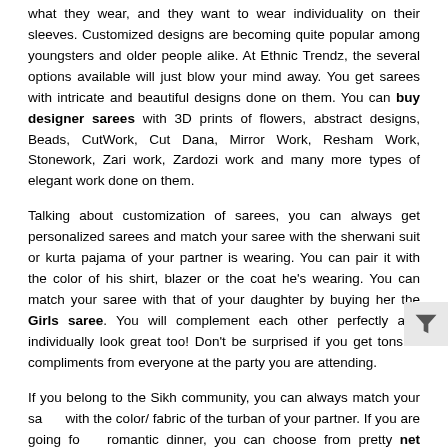what they wear, and they want to wear individuality on their sleeves. Customized designs are becoming quite popular among youngsters and older people alike. At Ethnic Trendz, the several options available will just blow your mind away. You get sarees with intricate and beautiful designs done on them. You can buy designer sarees with 3D prints of flowers, abstract designs, Beads, CutWork, Cut Dana, Mirror Work, Resham Work, Stonework, Zari work, Zardozi work and many more types of elegant work done on them.
Talking about customization of sarees, you can always get personalized sarees and match your saree with the sherwani suit or kurta pajama of your partner is wearing. You can pair it with the color of his shirt, blazer or the coat he's wearing. You can match your saree with that of your daughter by buying her the Girls saree. You will complement each other perfectly and individually look great too! Don't be surprised if you get tons of compliments from everyone at the party you are attending.
If you belong to the Sikh community, you can always match your saree with the color/ fabric of the turban of your partner. If you are going for a romantic dinner, you can choose from pretty net sarees that have plenty of designs- thus you have a lot of great choices to select the perfect saree for you. New pattern sarees are available with EthnicTrendz, and you can keep pace with the latest fashion that is in trend these days.